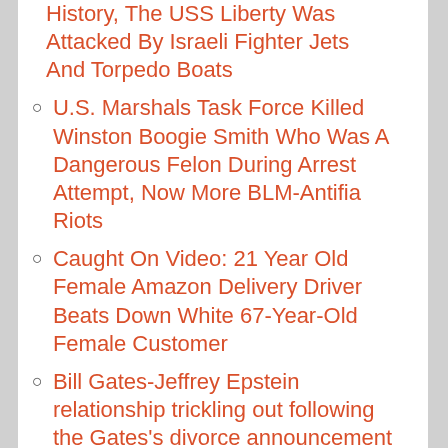History, The USS Liberty Was Attacked By Israeli Fighter Jets And Torpedo Boats
U.S. Marshals Task Force Killed Winston Boogie Smith Who Was A Dangerous Felon During Arrest Attempt, Now More BLM-Antifia Riots
Caught On Video: 21 Year Old Female Amazon Delivery Driver Beats Down White 67-Year-Old Female Customer
Bill Gates-Jeffrey Epstein relationship trickling out following the Gates's divorce announcement
Offbeat News: Gwyneth Paltrow's Goop 'Vagina' candle randomly explodes, poses fire risk, class action claims
Caught On Video: Florida Man Caught...